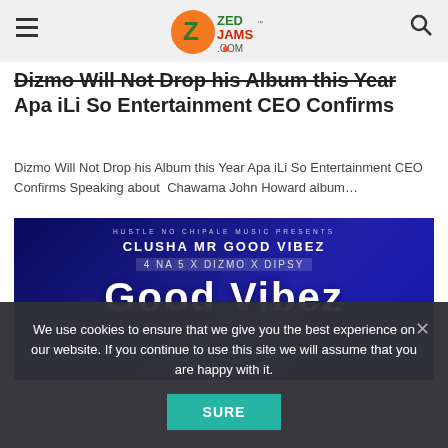ZedJams.com
Dizmo Will Not Drop his Album this Year Apa iLi So Entertainment CEO Confirms
Dizmo Will Not Drop his Album this Year Apa iLi So Entertainment CEO Confirms Speaking about  Chawama John Howard album…
[Figure (photo): Music promotional image: dark blue background with text 'HUSTLE NO CHIPALE MUSIC PRESENTS', 'CLUSHA MR GOOD VIBEZ', '4 NA 5 x DIZMO x DIPSY', and large text 'Good Vibez']
We use cookies to ensure that we give you the best experience on our website. If you continue to use this site we will assume that you are happy with it.